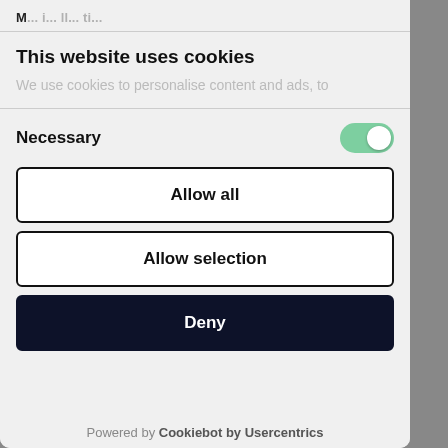M... i... ll... ti...
This website uses cookies
We use cookies to personalise content and ads, to
Necessary
Allow all
Allow selection
Deny
Powered by Cookiebot by Usercentrics